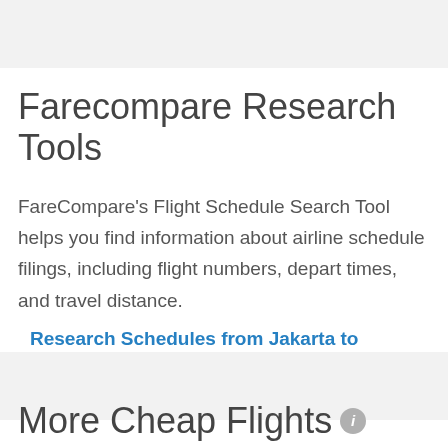Farecompare Research Tools
FareCompare's Flight Schedule Search Tool helps you find information about airline schedule filings, including flight numbers, depart times, and travel distance.
Research Schedules from Jakarta to Bangkok
More Cheap Flights